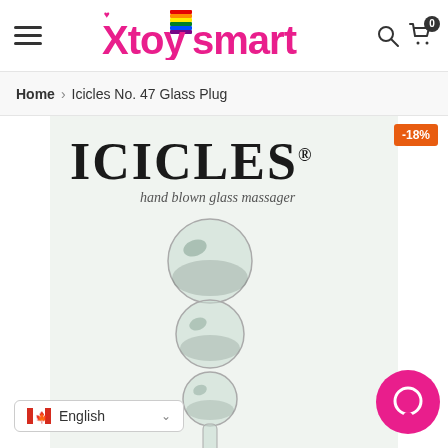Xtoysmart — navigation header with hamburger menu, logo, search and cart icons
Home > Icicles No. 47 Glass Plug
[Figure (photo): Product photo of Icicles No. 47 hand blown glass massager in packaging, showing three stacked glass spheres on a stem. Discount badge showing -18% in top right corner.]
English language selector with Canadian flag